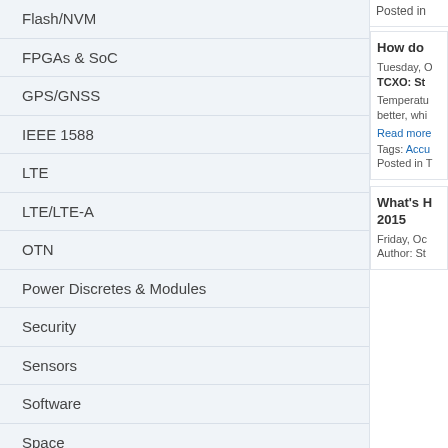Flash/NVM
FPGAs & SoC
GPS/GNSS
IEEE 1588
LTE
LTE/LTE-A
OTN
Power Discretes & Modules
Security
Sensors
Software
Space
Storage
Timing & Synchronization
Ultra-Low-Power (ULP) Wireless
Uncategorized
ARCHIVES
Posted in
How do
Tuesday, O
TCXO: St
Temperatu better, whi
Read more
Tags: Accu
Posted in T
What's H 2015
Friday, Oc
Author: St